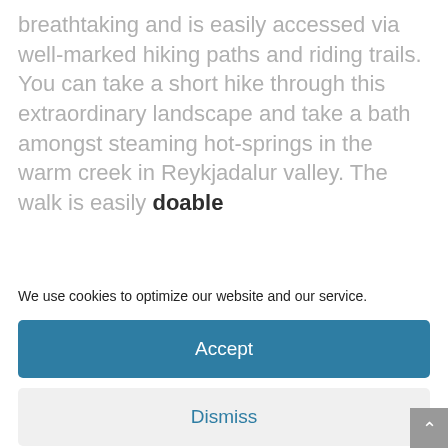breathtaking and is easily accessed via well-marked hiking paths and riding trails. You can take a short hike through this extraordinary landscape and take a bath amongst steaming hot-springs in the warm creek in Reykjadalur valley. The walk is easily doable
We use cookies to optimize our website and our service.
Accept
Dismiss
Preferences
Cookie Policy   Ochrana osobních údajů